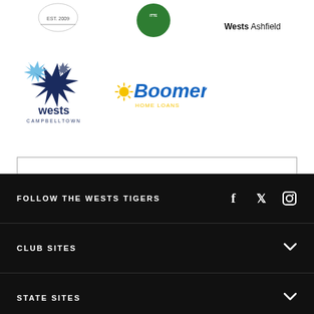[Figure (logo): Partial logos row at top: a circular logo with EST. 2009, a green circular logo (partial), and Wests Ashfield text logo]
[Figure (logo): Wests Campbelltown star logo with blue stars and text]
[Figure (logo): Boomer Home Loans logo in blue and yellow]
VIEW ALL PARTNERS
FOLLOW THE WESTS TIGERS
[Figure (illustration): Social media icons: Facebook, Twitter, Instagram]
CLUB SITES
STATE SITES